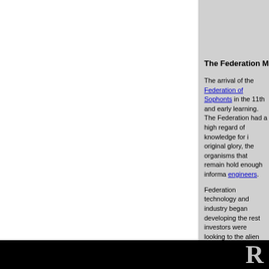The Federation Megacorps
The arrival of the Federation of Sophonts in the 11th and early learning. The Federation had a high regard of knowledge for i original glory, the organisms that remain hold enough informa engineers.
Federation technology and industry began developing the rest investors were looking to the alien biosphere of Darwin as a s
Following Birnam Ecotech's illegal theft of samples from the ban on all federation biotech companies.
In response, the biotech corporations began using their media taking snippets of interviews and educational interactives out confounded by the fact that there were some locals who suppo corps brought, and some even wanted to settle the surface of D
The scientists meanwhile initiated their own memetic warfare were incompetent, and if they were not controlled they would Images of Corporation development plans, and lurid immersiv were they to be allowed to go ahead, seeming completely ridic
R